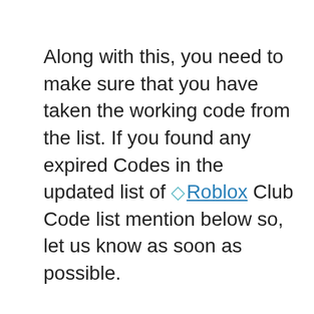Along with this, you need to make sure that you have taken the working code from the list. If you found any expired Codes in the updated list of ◇ Roblox Club Code list mention below so, let us know as soon as possible.